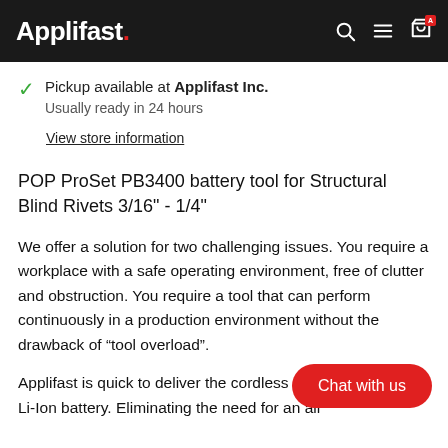Applifast.
Pickup available at Applifast Inc.
Usually ready in 24 hours
View store information
POP ProSet PB3400 battery tool for Structural Blind Rivets 3/16" - 1/4"
We offer a solution for two challenging issues. You require a workplace with a safe operating environment, free of clutter and obstruction. You require a tool that can perform continuously in a production environment without the drawback of “tool overload”.
Applifast is quick to deliver the cordless PB3400 with a 20V Li-Ion battery. Eliminating the need for an air